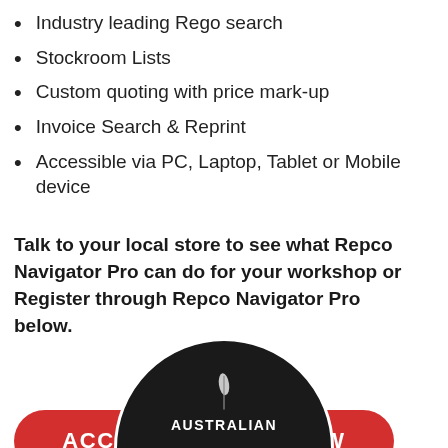Industry leading Rego search
Stockroom Lists
Custom quoting with price mark-up
Invoice Search & Reprint
Accessible via PC, Laptop, Tablet or Mobile device
Talk to your local store to see what Repco Navigator Pro can do for your workshop or Register through Repco Navigator Pro below.
[Figure (other): Red rounded rectangle button with white bold uppercase text: ACCESS NAV PRO NOW]
[Figure (logo): Circular black badge with white feather quill icon and text AUSTRALIAN, partial view at bottom of page]